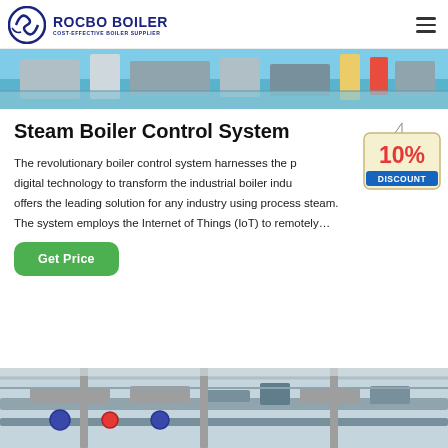ROCBO BOILER — COST-EFFECTIVE BOILER SUPPLIER
[Figure (photo): Industrial boiler machinery interior with yellow and red equipment visible]
Steam Boiler Control System
[Figure (illustration): 10% DISCOUNT badge/tag hanging graphic]
The revolutionary boiler control system harnesses the power of digital technology to transform the industrial boiler industry and offers the leading solution for any industry using process steam. The system employs the Internet of Things (IoT) to remotely…
[Figure (photo): Industrial boiler system with pipes and valves close-up]